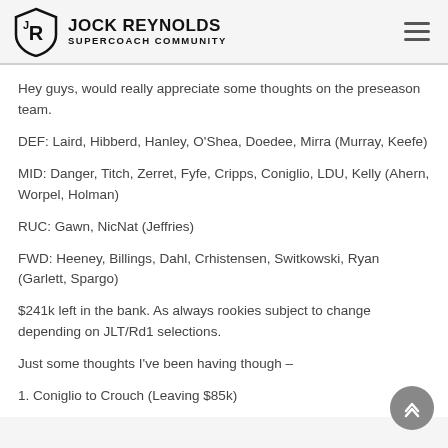JOCK REYNOLDS SUPERCOACH COMMUNITY
Hey guys, would really appreciate some thoughts on the preseason team.
DEF: Laird, Hibberd, Hanley, O'Shea, Doedee, Mirra (Murray, Keefe)
MID: Danger, Titch, Zerret, Fyfe, Cripps, Coniglio, LDU, Kelly (Ahern, Worpel, Holman)
RUC: Gawn, NicNat (Jeffries)
FWD: Heeney, Billings, Dahl, Crhistensen, Switkowski, Ryan (Garlett, Spargo)
$241k left in the bank. As always rookies subject to change depending on JLT/Rd1 selections.
Just some thoughts I've been having though –
1. Coniglio to Crouch (Leaving $85k)